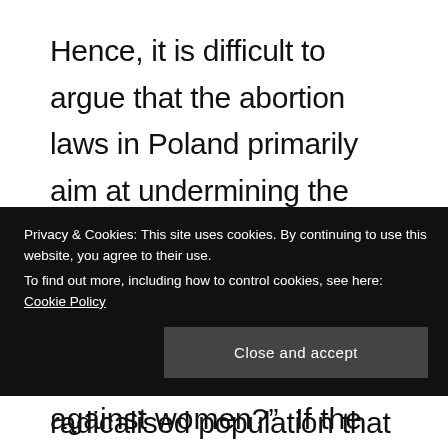Hence, it is difficult to argue that the abortion laws in Poland primarily aim at undermining the role of women per se. Rather the law is a result of a radicalised political system, which reflects a radicalised population that tries to distance themselves. With the help of our feminist lens, this also leads us to think about the role of women in Christianity and its organised institution in form
Privacy & Cookies: This site uses cookies. By continuing to use this website, you agree to their use.
To find out more, including how to control cookies, see here: Cookie Policy
against women?". If the answer to that is "yes",